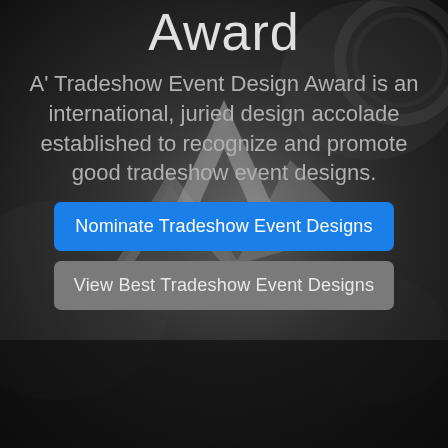[Figure (photo): Dark background photo of a metallic award trophy made of angular triangular silver metal pieces, blurred background with mechanical/gear-like elements.]
Award
A' Tradeshow Event Design Award is an international, juried design accolade established to recognize and promote good tradeshow event designs.
Nominate Tradeshow Event Designs
View Best Tradeshow Event Designs